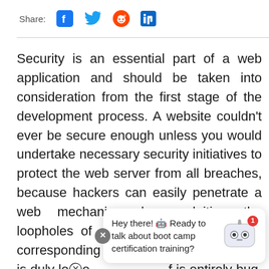Share: [facebook] [twitter] [reddit] [linkedin]
Security is an essential part of a web application and should be taken into consideration from the first stage of the development process. A website couldn't ever be secure enough unless you would undertake necessary security initiatives to protect the web server from all breaches, because hackers can easily penetrate a web mechanism by exploiting the loopholes of a web server, even if the corresponding source code of a website is duly loⓧe f is entirely bug t could be compromised because of the way it
[Figure (other): Chatbot overlay popup with close button, robot icon with notification badge (1), and text: Hey there! 🤖 Ready to talk about boot camp certification training?]